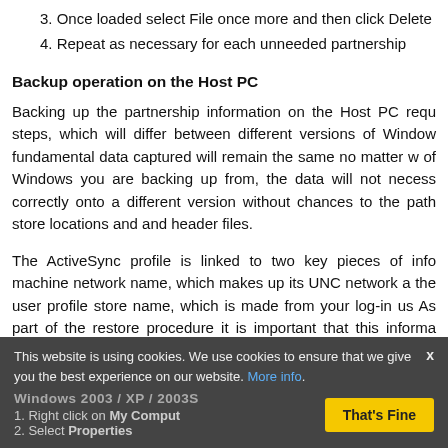3. Once loaded select File once more and then click Delete
4. Repeat as necessary for each unneeded partnership
Backup operation on the Host PC
Backing up the partnership information on the Host PC requires steps, which will differ between different versions of Windows. The fundamental data captured will remain the same no matter which version of Windows you are backing up from, the data will not necessarily restore correctly onto a different version without chances to the path names of the store locations and and header files.
The ActiveSync profile is linked to two key pieces of information: the machine network name, which makes up its UNC network address, and the user profile store name, which is made from your log-in username. As part of the restore procedure it is important that this information is changed, otherwise you will need to edit the details by hand.
Machine Name
Windows 2003 / XP / 2003S
1. Right click on My Computer
2. Select Properties
This website is using cookies. We use cookies to ensure that we give you the best experience on our website. More info. That's Fine